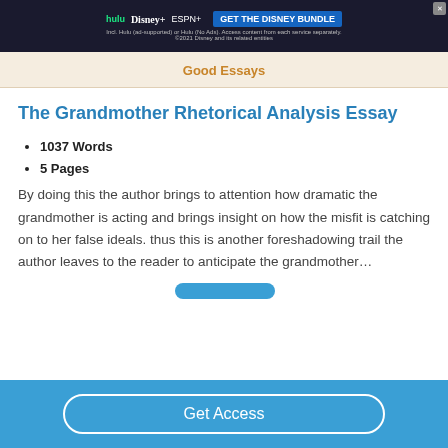[Figure (screenshot): Disney Bundle advertisement banner with Hulu, Disney+, ESPN+ logos and 'GET THE DISNEY BUNDLE' call to action]
Good Essays
The Grandmother Rhetorical Analysis Essay
1037 Words
5 Pages
By doing this the author brings to attention how dramatic the grandmother is acting and brings insight on how the misfit is catching on to her false ideals. thus this is another foreshadowing trail the author leaves to the reader to anticipate the grandmother…
Get Access